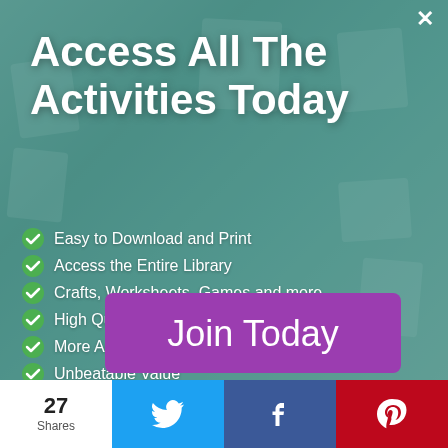Access All The Activities Today
Easy to Download and Print
Access the Entire Library
Crafts, Worksheets, Games and more
High Quality Printables
More Added Each Month
Unbeatable Value
[Figure (illustration): Background collage of children's activity worksheets, crafts, and educational games on a wooden table surface with teal overlay]
Join Today
27 Shares
[Figure (logo): Twitter bird icon on blue background]
[Figure (logo): Facebook f icon on dark blue background]
[Figure (logo): Pinterest P icon on red background]